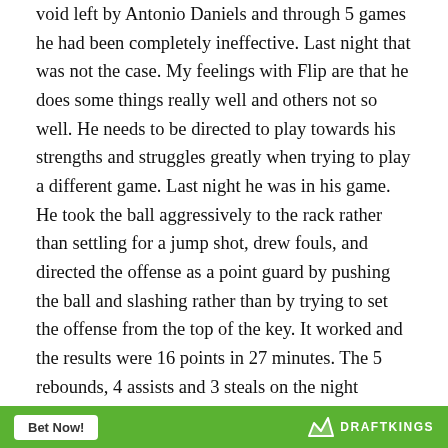void left by Antonio Daniels and through 5 games he had been completely ineffective. Last night that was not the case. My feelings with Flip are that he does some things really well and others not so well. He needs to be directed to play towards his strengths and struggles greatly when trying to play a different game. Last night he was in his game. He took the ball aggressively to the rack rather than settling for a jump shot, drew fouls, and directed the offense as a point guard by pushing the ball and slashing rather than by trying to set the offense from the top of the key. It worked and the results were 16 points in 27 minutes. The 5 rebounds, 4 assists and 3 steals on the night possibly made it the most well balanced game of his career.
Bet Now! DRAFTKINGS